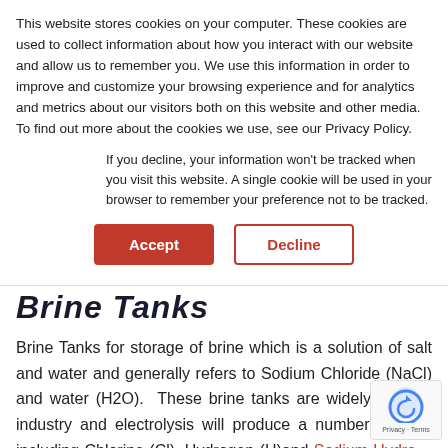This website stores cookies on your computer. These cookies are used to collect information about how you interact with our website and allow us to remember you. We use this information in order to improve and customize your browsing experience and for analytics and metrics about our visitors both on this website and other media. To find out more about the cookies we use, see our Privacy Policy.
If you decline, your information won't be tracked when you visit this website. A single cookie will be used in your browser to remember your preference not to be tracked.
Accept
Decline
Brine Tanks
Brine Tanks for storage of brine which is a solution of salt and water and generally refers to Sodium Chloride (NaCl) and water (H2O). These brine tanks are widely used in industry and electrolysis will produce a number of ch... including Chlorine (Cl), Hydrogen (H)and Sodium Hydro... (NaOH). Sodium Hydroxide is used in the food indust...